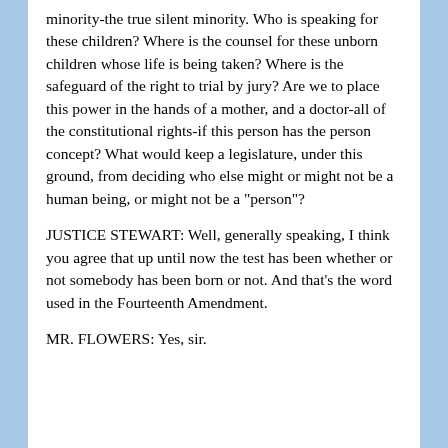minority-the true silent minority. Who is speaking for these children? Where is the counsel for these unborn children whose life is being taken? Where is the safeguard of the right to trial by jury? Are we to place this power in the hands of a mother, and a doctor-all of the constitutional rights-if this person has the person concept? What would keep a legislature, under this ground, from deciding who else might or might not be a human being, or might not be a "person"?
JUSTICE STEWART: Well, generally speaking, I think you agree that up until now the test has been whether or not somebody has been born or not. And that's the word used in the Fourteenth Amendment.
MR. FLOWERS: Yes, sir.